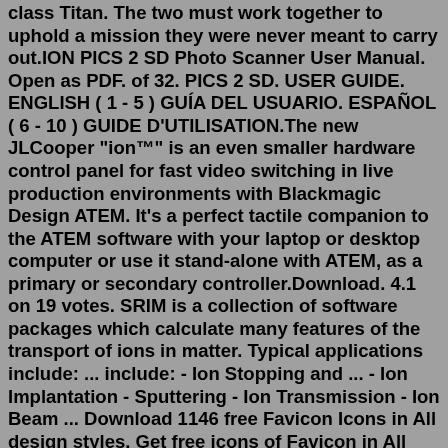class Titan. The two must work together to uphold a mission they were never meant to carry out.ION PICS 2 SD Photo Scanner User Manual. Open as PDF. of 32. PICS 2 SD. USER GUIDE. ENGLISH ( 1 - 5 ) GUÍA DEL USUARIO. ESPAÑOL ( 6 - 10 ) GUIDE D'UTILISATION.The new JLCooper "ion™" is an even smaller hardware control panel for fast video switching in live production environments with Blackmagic Design ATEM. It's a perfect tactile companion to the ATEM software with your laptop or desktop computer or use it stand-alone with ATEM, as a primary or secondary controller.Download. 4.1 on 19 votes. SRIM is a collection of software packages which calculate many features of the transport of ions in matter. Typical applications include: ... include: - Ion Stopping and ... - Ion Implantation - Sputtering - Ion Transmission - Ion Beam ... Download 1146 free Favicon Icons in All design styles. Get free icons of Favicon in All style for your design. Our free images are pixel perfect and available in png and vector. Download icons in all formats or edit them for your